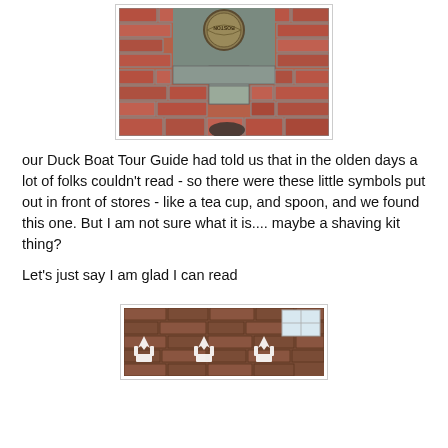[Figure (photo): Close-up photo of Boston Freedom Trail brick path with a circular metal medallion/seal embedded in granite, viewed from above with a person's foot visible at bottom]
our Duck Boat Tour Guide had told us that in the olden days a lot of folks couldn't read - so there were these little symbols put out in front of stores - like a tea cup, and spoon, and we found this one. But I am not sure what it is.... maybe a shaving kit thing?
Let's just say I am glad I can read
[Figure (photo): Photo of the exterior of a brick building with decorative white crown or fleur-de-lis shapes on the wall, and a window visible in upper right]